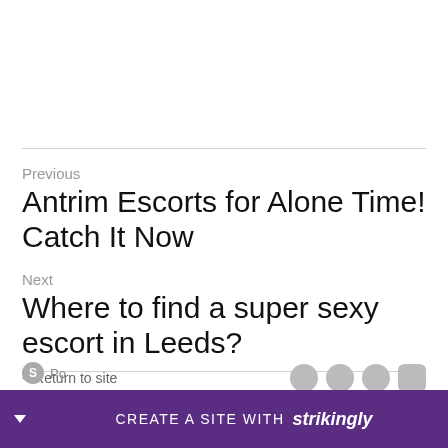Previous
Antrim Escorts for Alone Time! Catch It Now
Next
Where to find a super sexy escort in Leeds?
< Return to site   CREATE A SITE WITH strikingly